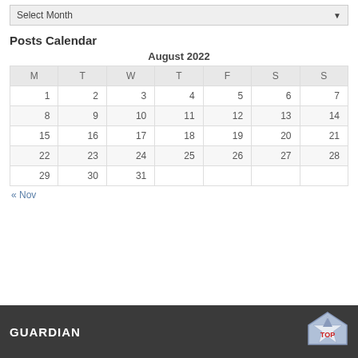Select Month ▼
Posts Calendar
| M | T | W | T | F | S | S |
| --- | --- | --- | --- | --- | --- | --- |
| 1 | 2 | 3 | 4 | 5 | 6 | 7 |
| 8 | 9 | 10 | 11 | 12 | 13 | 14 |
| 15 | 16 | 17 | 18 | 19 | 20 | 21 |
| 22 | 23 | 24 | 25 | 26 | 27 | 28 |
| 29 | 30 | 31 |  |  |  |  |
« Nov
GUARDIAN